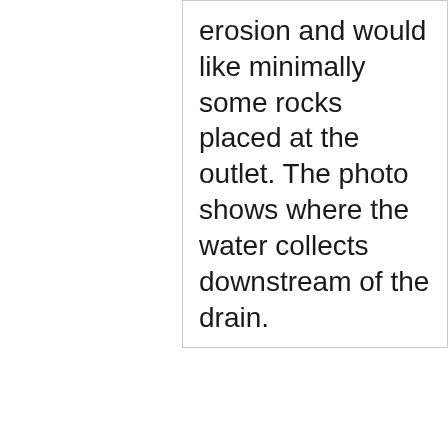erosion and would like minimally some rocks placed at the outlet. The photo shows where the water collects downstream of the drain.
closed #139327 Sewer Problems (Storm Sewers) 2949 N